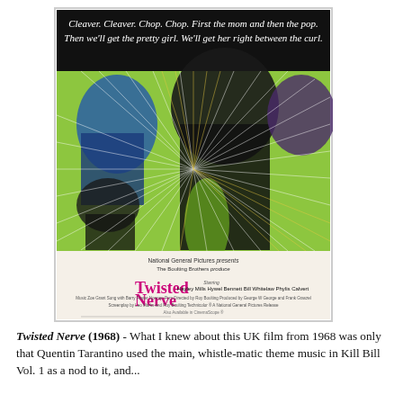[Figure (illustration): Movie poster for 'Twisted Nerve' (1968). Black background at top with white italic text reading: 'Cleaver. Cleaver. Chop. Chop. First the mom and then the pop. Then we'll get the pretty girl. We'll get her right between the curl.' Below is a psychedelic green, black and blue illustrated image of faces and figures with radiating white lines. Bottom section shows 'National General Pictures presents The Boulting Brothers produce Twisted Nerve' in pink/magenta block letters, with cast and crew credits below.]
Twisted Nerve (1968) - What I knew about this UK film from 1968 was only that Quentin Tarantino used the main, whistle-matic theme music in Kill Bill Vol. 1 as a nod to it, and...